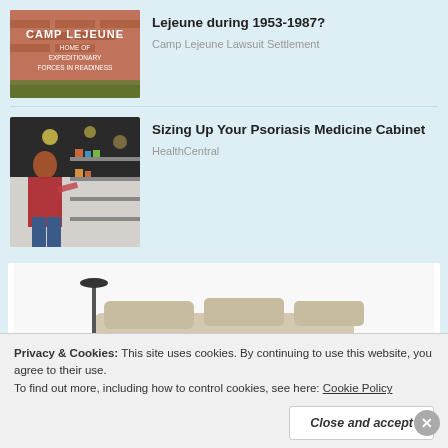[Figure (photo): Camp Lejeune sign on brick wall reading HOME OF EXPEDITIONARY FORCES IN READINESS]
Lejeune during 1953-1987?
Camp Lejeune Lawsuit Settlement
[Figure (photo): Woman in plaid shirt browsing products in a store aisle]
Sizing Up Your Psoriasis Medicine Cabinet
HealthCentral
[Figure (photo): Advertisement showing a recliner chair/sofa]
Privacy & Cookies: This site uses cookies. By continuing to use this website, you agree to their use.
To find out more, including how to control cookies, see here: Cookie Policy
Close and accept